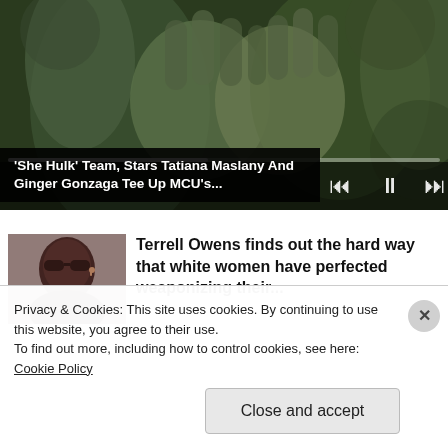[Figure (screenshot): Video player showing two people with green-tinted skin pressing hands together in an outdoor setting. Video controls (skip back, pause, skip forward) visible. Progress bar shown.]
'She Hulk' Team, Stars Tatiana Maslany And Ginger Gonzaga Tee Up MCU's...
[Figure (photo): Photo of Terrell Owens wearing sunglasses]
Terrell Owens finds out the hard way that white women have perfected weaponizing their...
Privacy & Cookies: This site uses cookies. By continuing to use this website, you agree to their use.
To find out more, including how to control cookies, see here: Cookie Policy
Close and accept